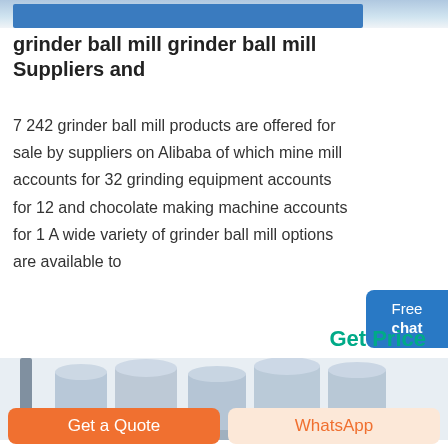[Figure (photo): Partial view of industrial equipment with blue metal frame at the top of the page]
grinder ball mill grinder ball mill Suppliers and
7 242 grinder ball mill products are offered for sale by suppliers on Alibaba of which mine mill accounts for 32 grinding equipment accounts for 12 and chocolate making machine accounts for 1 A wide variety of grinder ball mill options are available to
[Figure (illustration): Small illustration of a customer service person with headset, part of Free chat button]
Get Price
[Figure (photo): Industrial silos or storage tanks, large cylindrical metal structures]
Get a Quote
WhatsApp